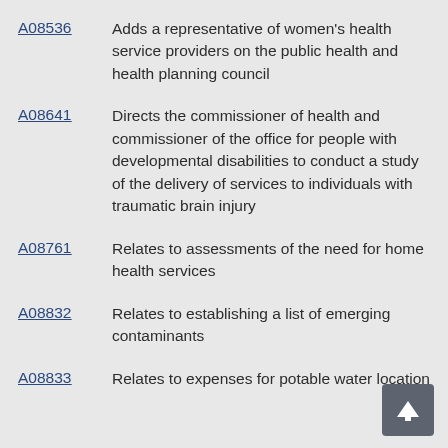A08536 Adds a representative of women's health service providers on the public health and health planning council
A08641 Directs the commissioner of health and commissioner of the office for people with developmental disabilities to conduct a study of the delivery of services to individuals with traumatic brain injury
A08761 Relates to assessments of the need for home health services
A08832 Relates to establishing a list of emerging contaminants
A08833 Relates to expenses for potable water location